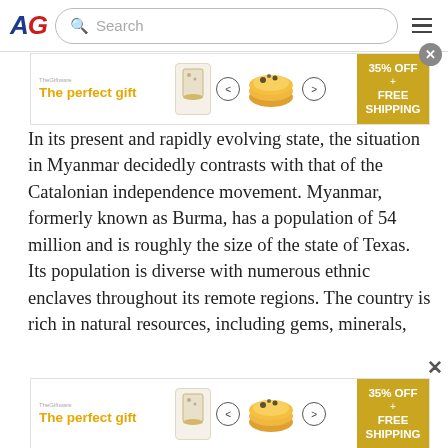AG Search
[Figure (screenshot): Advertisement banner: 'The perfect gift' with food imagery, navigation arrows, and '35% OFF + FREE SHIPPING' gold box]
In its present and rapidly evolving state, the situation in Myanmar decidedly contrasts with that of the Catalonian independence movement. Myanmar, formerly known as Burma, has a population of 54 million and is roughly the size of the state of Texas. Its population is diverse with numerous ethnic enclaves throughout its remote regions. The country is rich in natural resources, including gems, minerals, natural gas, and oil. China is its primary economic partner and operates numerous textile and garment manufacturing concerns throughout the country.
[Figure (screenshot): Advertisement banner: 'The perfect gift' with food imagery, navigation arrows, and '35% OFF + FREE SHIPPING' gold box]